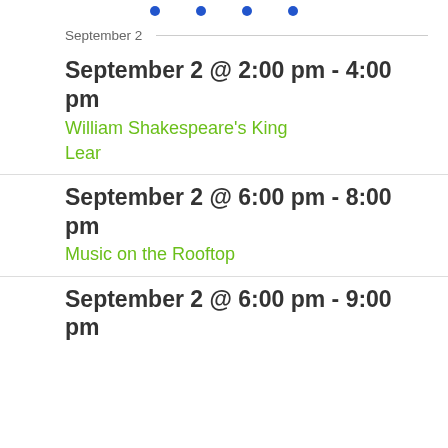[Figure (other): Row of four blue dots used as decorative separator]
September 2
September 2 @ 2:00 pm - 4:00 pm
William Shakespeare's King Lear
September 2 @ 6:00 pm - 8:00 pm
Music on the Rooftop
September 2 @ 6:00 pm - 9:00 pm